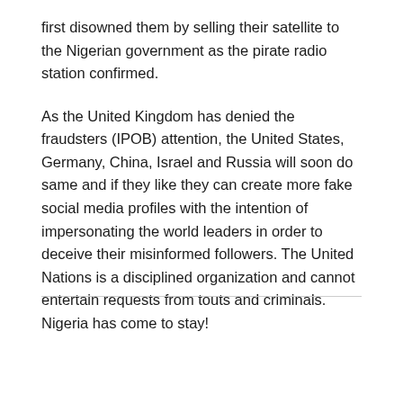first disowned them by selling their satellite to the Nigerian government as the pirate radio station confirmed.
As the United Kingdom has denied the fraudsters (IPOB) attention, the United States, Germany, China, Israel and Russia will soon do same and if they like they can create more fake social media profiles with the intention of impersonating the world leaders in order to deceive their misinformed followers. The United Nations is a disciplined organization and cannot entertain requests from touts and criminals. Nigeria has come to stay!